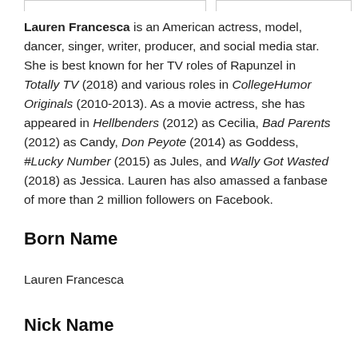Lauren Francesca is an American actress, model, dancer, singer, writer, producer, and social media star. She is best known for her TV roles of Rapunzel in Totally TV (2018) and various roles in CollegeHumor Originals (2010-2013). As a movie actress, she has appeared in Hellbenders (2012) as Cecilia, Bad Parents (2012) as Candy, Don Peyote (2014) as Goddess, #Lucky Number (2015) as Jules, and Wally Got Wasted (2018) as Jessica. Lauren has also amassed a fanbase of more than 2 million followers on Facebook.
Born Name
Lauren Francesca
Nick Name